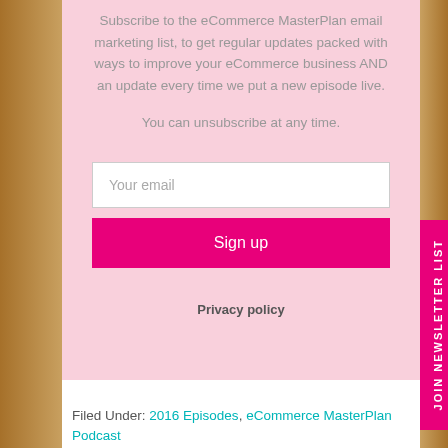Subscribe to the eCommerce MasterPlan email marketing list, to get regular updates packed with ways to improve your eCommerce business AND an update every time we put a new episode live.
You can unsubscribe at any time.
Your email
Sign up
Privacy policy
Filed Under: 2016 Episodes, eCommerce MasterPlan Podcast
JOIN NEWSLETTER LIST